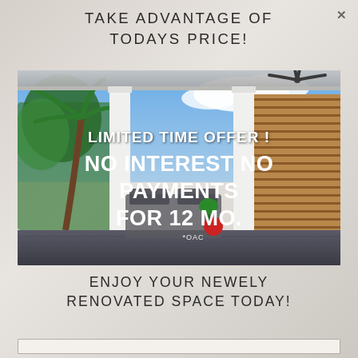TAKE ADVANTAGE OF TODAYS PRICE!
[Figure (photo): Outdoor covered patio with white columns, ceiling fan, tropical palm trees, dark grey composite decking, and wooden slat privacy wall. Overlaid text reads: LIMITED TIME OFFER! NO INTEREST NO PAYMENTS FOR 12 MO. *OAC]
ENJOY YOUR NEWELY RENOVATED SPACE TODAY!